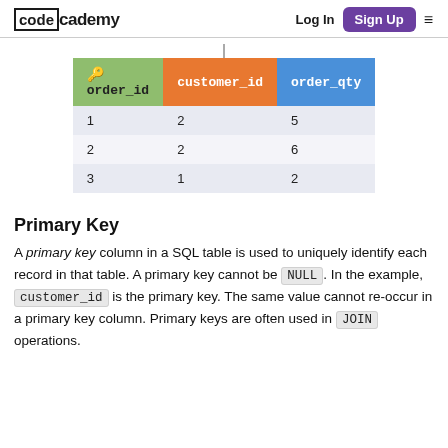codecademy | Log In | Sign Up
[Figure (table-as-image): Database table diagram showing columns: order_id (green header with key icon), customer_id (orange header), order_qty (blue header). Rows: 1,2,5 | 2,2,6 | 3,1,2]
Primary Key
A primary key column in a SQL table is used to uniquely identify each record in that table. A primary key cannot be NULL. In the example, customer_id is the primary key. The same value cannot re-occur in a primary key column. Primary keys are often used in JOIN operations.